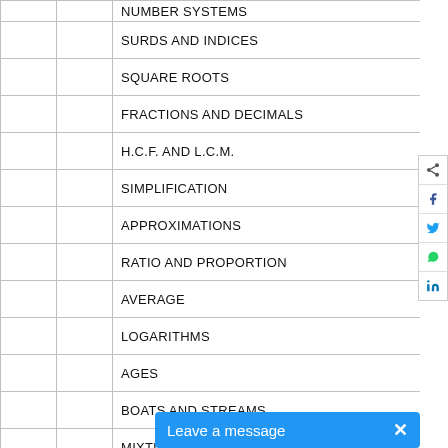|  |  | Topic |
| --- | --- | --- |
|  |  | NUMBER SYSTEMS |
|  |  | SURDS AND INDICES |
|  |  | SQUARE ROOTS |
|  |  | FRACTIONS AND DECIMALS |
|  |  | H.C.F. AND L.C.M. |
|  |  | SIMPLIFICATION |
|  |  | APPROXIMATIONS |
|  |  | RATIO AND PROPORTION |
|  |  | AVERAGE |
|  |  | LOGARITHMS |
|  |  | AGES |
|  |  | BOATS AND STREAMS |
|  |  | MIXTURE AND ALLIGATION |
|  |  | PIPES AND CISTERNS |
|  |  | PROBLEMS ON T... |
Leave a message